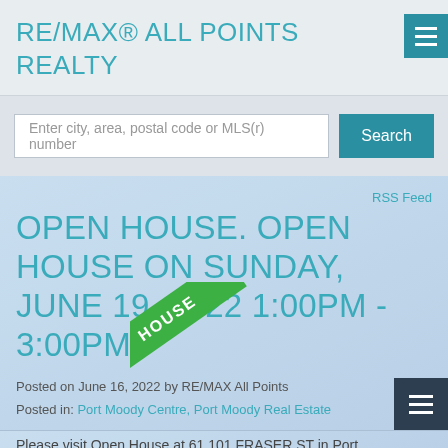RE/MAX® ALL POINTS REALTY
Enter city, area, postal code or MLS(r) number
RSS Feed
OPEN HOUSE. OPEN HOUSE ON SUNDAY, JUNE 19, 2022 1:00PM - 3:00PM
Posted on June 16, 2022 by RE/MAX All Points
Posted in: Port Moody Centre, Port Moody Real Estate
Please visit Open House at 61 101 FRASER ST in Port